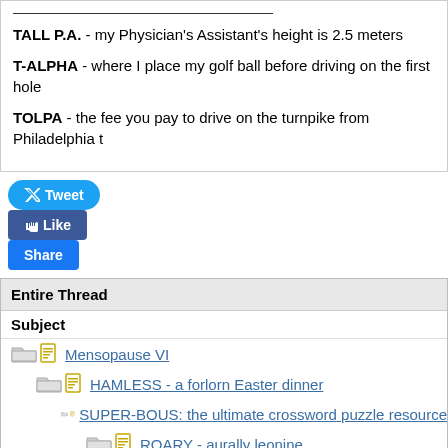TALL P.A. - my Physician's Assistant's height is 2.5 meters
T-ALPHA - where I place my golf ball before driving on the first hole
TOLPA - the fee you pay to drive on the turnpike from Philadelphia t
Tweet  Like  Share
Entire Thread
Subject
Mensopause VI
HAMLESS - a forlorn Easter dinner
SUPER-BOUS: the ultimate crossword puzzle resource
ROARY - aurally leonine
PRE-DOCIOUS - supercalifragilisticexpali-